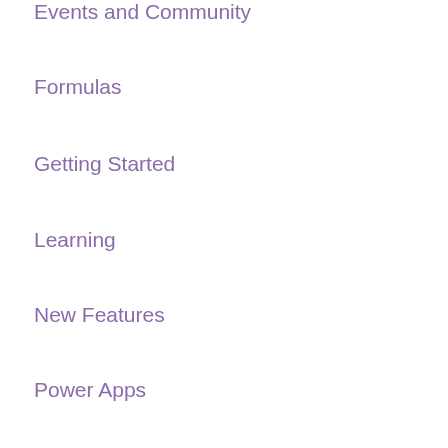Events and Community
Formulas
Getting Started
Learning
New Features
Power Apps
Power Fx
Power Platform Admin Center
Support
Templates
แท็กเก็บถาวร
กุมภาพันธ์ 2565
มกราคม 2565